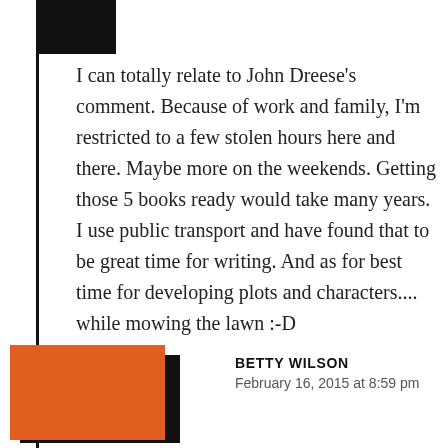[Figure (photo): Profile avatar image (dark/black square) at top left with vertical left border line]
I can totally relate to John Dreese's comment. Because of work and family, I'm restricted to a few stolen hours here and there. Maybe more on the weekends. Getting those 5 books ready would take many years. I use public transport and have found that to be great time for writing. And as for best time for developing plots and characters.... while mowing the lawn :-D
[Figure (photo): Profile avatar image (orange square with dark shadow) at bottom left for Betty Wilson]
BETTY WILSON
February 16, 2015 at 8:59 pm